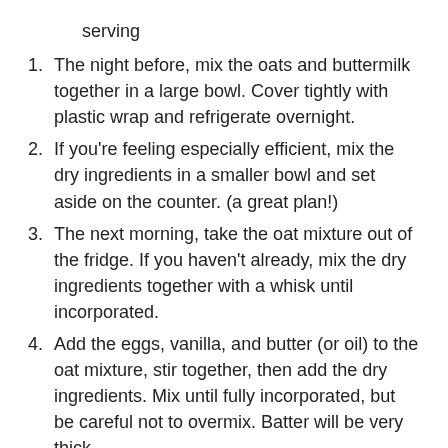serving
1. The night before, mix the oats and buttermilk together in a large bowl. Cover tightly with plastic wrap and refrigerate overnight.
2. If you're feeling especially efficient, mix the dry ingredients in a smaller bowl and set aside on the counter. (a great plan!)
3. The next morning, take the oat mixture out of the fridge. If you haven't already, mix the dry ingredients together with a whisk until incorporated.
4. Add the eggs, vanilla, and butter (or oil) to the oat mixture, stir together, then add the dry ingredients. Mix until fully incorporated, but be careful not to overmix. Batter will be very thick.
5. Grease a griddle or large pan with and set it over medium-high heat. When you flick water at the skillet